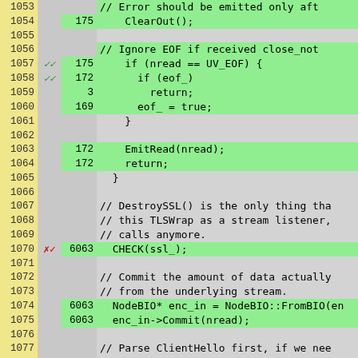[Figure (screenshot): Code coverage view showing C++ source lines 1053-1078 with line numbers in yellow column, hit counts in gray/green columns, and code in gray/green columns. Green highlighting indicates covered lines. Red x marker on line 1070.]